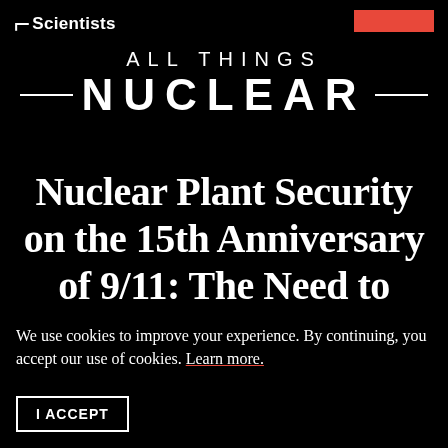Scientists — All Things NUCLEAR
Nuclear Plant Security on the 15th Anniversary of 9/11: The Need to Remain Vigilant
We use cookies to improve your experience. By continuing, you accept our use of cookies. Learn more.
I ACCEPT